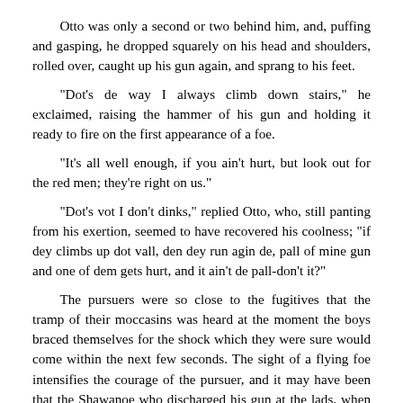Otto was only a second or two behind him, and, puffing and gasping, he dropped squarely on his head and shoulders, rolled over, caught up his gun again, and sprang to his feet.
"Dot's de way I always climb down stairs," he exclaimed, raising the hammer of his gun and holding it ready to fire on the first appearance of a foe.
"It's all well enough, if you ain't hurt, but look out for the red men; they're right on us."
"Dot's vot I don't dinks," replied Otto, who, still panting from his exertion, seemed to have recovered his coolness; "if dey climbs up dot vall, den dey run agin de, pall of mine gun and one of dem gets hurt, and it ain't de pall-don't it?"
The pursuers were so close to the fugitives that the tramp of their moccasins was heard at the moment the boys braced themselves for the shock which they were sure would come within the next few seconds. The sight of a flying foe intensifies the courage of the pursuer, and it may have been that the Shawanoe who discharged his gun at the lads, when they were so close